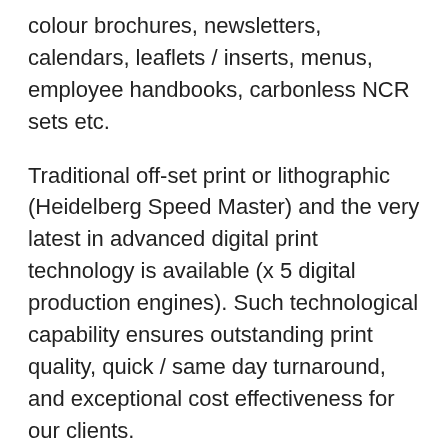colour brochures, newsletters, calendars, leaflets / inserts, menus, employee handbooks, carbonless NCR sets etc.
Traditional off-set print or lithographic (Heidelberg Speed Master) and the very latest in advanced digital print technology is available (x 5 digital production engines). Such technological capability ensures outstanding print quality, quick / same day turnaround, and exceptional cost effectiveness for our clients.
We also have a full in-house bindery. Book binding finishing options include stitch, perfect bind (paperback) or case bind (hard back). Lettertec produce exclusive customised hard cover